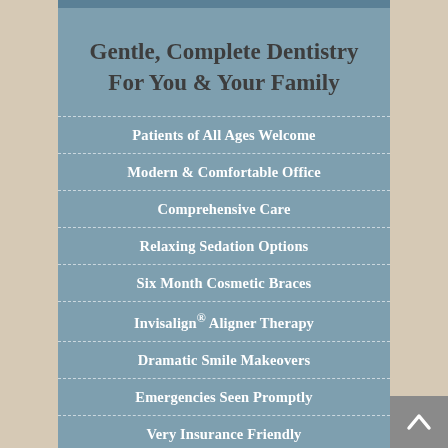Gentle, Complete Dentistry For You & Your Family
Patients of All Ages Welcome
Modern & Comfortable Office
Comprehensive Care
Relaxing Sedation Options
Six Month Cosmetic Braces
Invisalign® Aligner Therapy
Dramatic Smile Makeovers
Emergencies Seen Promptly
Very Insurance Friendly
Flexible Payment Plans
Read our Reviews